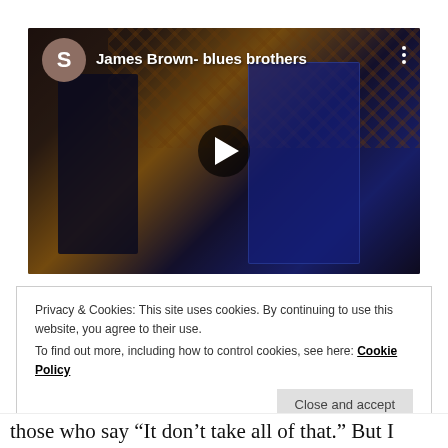[Figure (screenshot): Embedded YouTube-style video player showing James Brown - blues brothers, with two figures in suits visible, a play button in the center, an avatar circle with letter S on the top left, and a three-dot menu on the top right.]
Privacy & Cookies: This site uses cookies. By continuing to use this website, you agree to their use.
To find out more, including how to control cookies, see here: Cookie Policy
Close and accept
those who say “It don’t take all of that.” But I